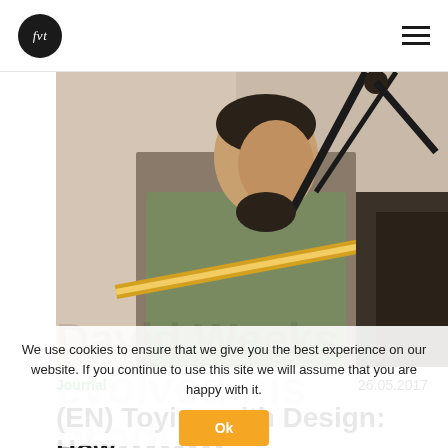fvt [logo] | hamburger menu
[Figure (photo): Portrait of David Weeks, a man in an olive green shirt, photographed in profile looking to the right, with a large architectural lamp or lighting fixture in the foreground and background, warm light, studio/interior setting]
Journal                                      26.05.2017
(EN) Toying with Design: How David Weeks evolved his product focus
We use cookies to ensure that we give you the best experience on our website. If you continue to use this site we will assume that you are happy with it.
(EN) While branching out from lighting, the industrial designer foun   vation in wooden toys